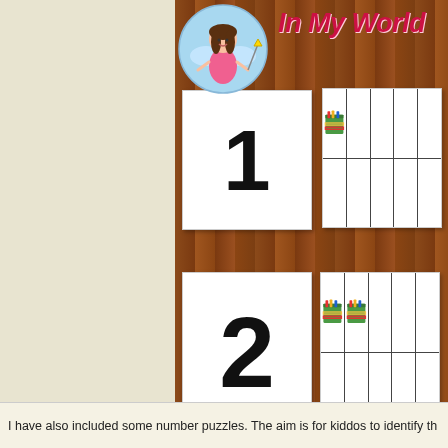[Figure (illustration): Educational activity board showing number cards 1, 2, 3 paired with ten-frame cards containing crayon bucket illustrations. Mounted on a wooden board background. Header shows 'In My World' logo with cartoon girl.]
I have also included some number puzzles. The aim is for kiddos to identify th